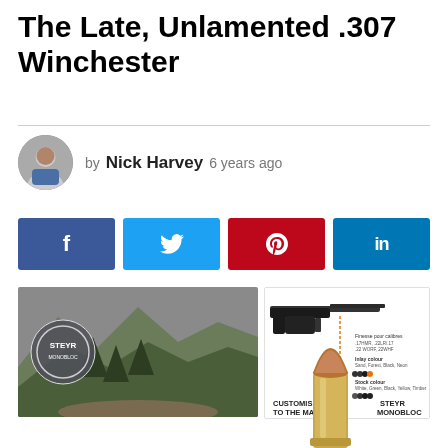The Late, Unlamented .307 Winchester
by Nick Harvey  6 years ago
[Figure (infographic): Social share buttons: Facebook, Twitter, Pinterest, LinkedIn]
[Figure (photo): Left: landscape photo of mountains and trees with Steyr Monobloc logo overlay. Right: Steyr Monobloc rifle product advertisement showing customization options.]
[Figure (photo): A rifle bullet/cartridge shown upright, brass casing with copper tip, partially visible at bottom right of page.]